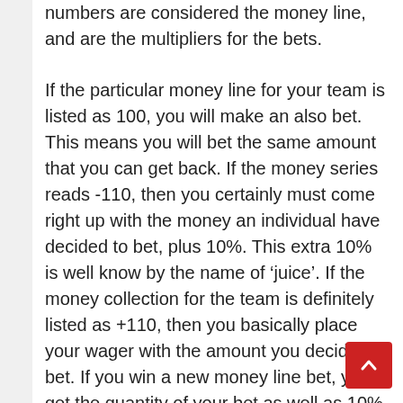numbers are considered the money line, and are the multipliers for the bets.
If the particular money line for your team is listed as 100, you will make an also bet. This means you will bet the same amount that you can get back. If the money series reads -110, then you certainly must come right up with the money an individual have decided to bet, plus 10%. This extra 10% is well know by the name of 'juice'. If the money collection for the team is definitely listed as +110, then you basically place your wager with the amount you decide to bet. If you win a new money line bet, you get the quantity of your bet as well as 10% back. For instance , if you gamble $10. 00 plus $1. 00 in juice on the -110 money line and it benefits,